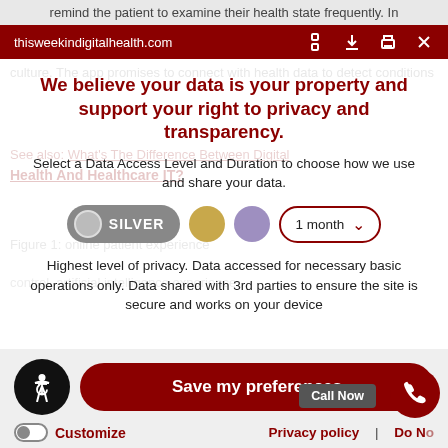remind the patient to examine their health state frequently. In
thisweekindigitalhealth.com
We believe your data is your property and support your right to privacy and transparency.
Select a Data Access Level and Duration to choose how we use and share your data.
Highest level of privacy. Data accessed for necessary basic operations only. Data shared with 3rd parties to ensure the site is secure and works on your device
Save my preferences
Call Now
Customize
Privacy policy  |  Do Not Sell